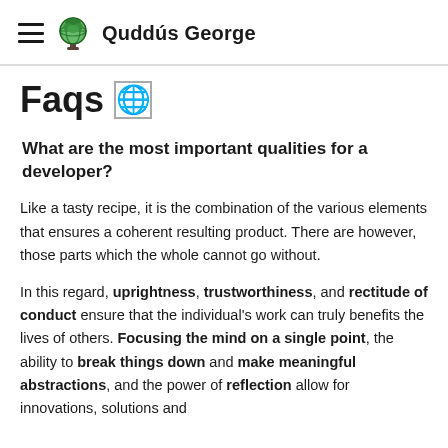Quddús George
Faqs 🌐
What are the most important qualities for a developer?
Like a tasty recipe, it is the combination of the various elements that ensures a coherent resulting product. There are however, those parts which the whole cannot go without.
In this regard, uprightness, trustworthiness, and rectitude of conduct ensure that the individual's work can truly benefits the lives of others. Focusing the mind on a single point, the ability to break things down and make meaningful abstractions, and the power of reflection allow for innovations, solutions and